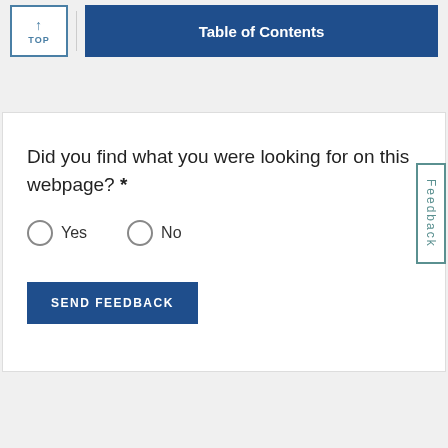TOP | Table of Contents
Did you find what you were looking for on this webpage? *
Yes   No
SEND FEEDBACK
Feedback